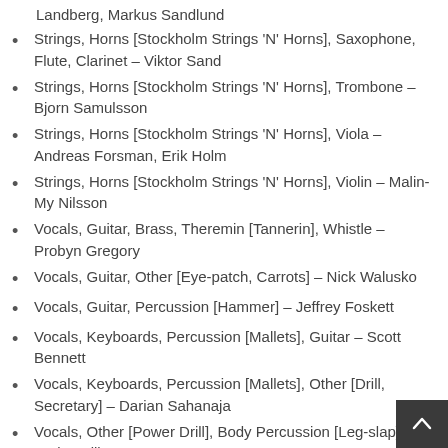Landberg, Markus Sandlund
Strings, Horns [Stockholm Strings 'N' Horns], Saxophone, Flute, Clarinet – Viktor Sand
Strings, Horns [Stockholm Strings 'N' Horns], Trombone – Bjorn Samulsson
Strings, Horns [Stockholm Strings 'N' Horns], Viola – Andreas Forsman, Erik Holm
Strings, Horns [Stockholm Strings 'N' Horns], Violin – Malin-My Nilsson
Vocals, Guitar, Brass, Theremin [Tannerin], Whistle – Probyn Gregory
Vocals, Guitar, Other [Eye-patch, Carrots] – Nick Walusko
Vocals, Guitar, Percussion [Hammer] – Jeffrey Foskett
Vocals, Keyboards, Percussion [Mallets], Guitar – Scott Bennett
Vocals, Keyboards, Percussion [Mallets], Other [Drill, Secretary] – Darian Sahanaja
Vocals, Other [Power Drill], Body Percussion [Leg-slap] – Taylor Mills
Vocals, Percussion, Whistle, Other [Celery] – Nelson Bragg
Woodwind, Saxophone, Harmonica, Conductor [Semi-conductor] – Paul Mertens
Words By – Van Dyke Parks